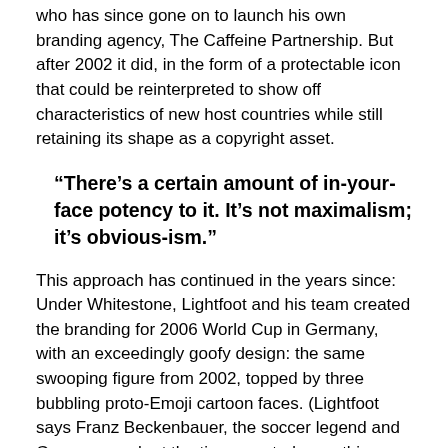who has since gone on to launch his own branding agency, The Caffeine Partnership. But after 2002 it did, in the form of a protectable icon that could be reinterpreted to show off characteristics of new host countries while still retaining its shape as a copyright asset.
“There’s a certain amount of in-your-face potency to it. It’s not maximalism; it’s obvious-ism.”
This approach has continued in the years since: Under Whitestone, Lightfoot and his team created the branding for 2006 World Cup in Germany, with an exceedingly goofy design: the same swooping figure from 2002, topped by three bubbling proto-Emoji cartoon faces. (Lightfoot says Franz Beckenbauer, the soccer legend and German coach at the time, wanted something